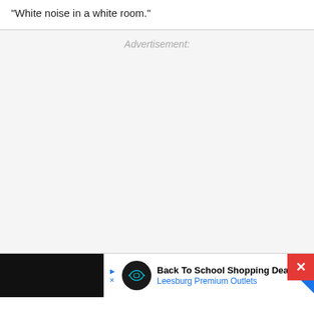“White noise in a white room.”
Advertisement:
[Figure (other): Advertisement placeholder area with grey background]
[Figure (other): Bottom banner ad: Back To School Shopping Deals - Leesburg Premium Outlets with logo and navigation arrow icon. Close button (X) in red visible at top right.]